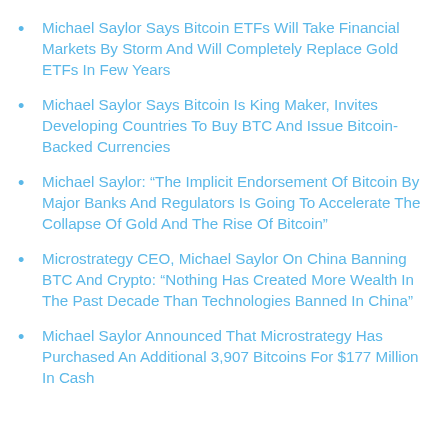Michael Saylor Says Bitcoin ETFs Will Take Financial Markets By Storm And Will Completely Replace Gold ETFs In Few Years
Michael Saylor Says Bitcoin Is King Maker, Invites Developing Countries To Buy BTC And Issue Bitcoin-Backed Currencies
Michael Saylor: “The Implicit Endorsement Of Bitcoin By Major Banks And Regulators Is Going To Accelerate The Collapse Of Gold And The Rise Of Bitcoin”
Microstrategy CEO, Michael Saylor On China Banning BTC And Crypto: “Nothing Has Created More Wealth In The Past Decade Than Technologies Banned In China”
Michael Saylor Announced That Microstrategy Has Purchased An Additional 3,907 Bitcoins For $177 Million In Cash